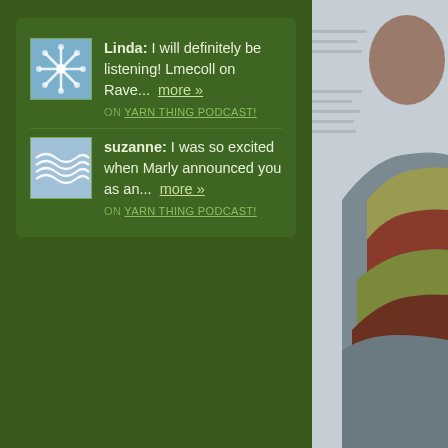Linda: I will definitely be listening! Lmecoll on Rave... more » ON YARN THING PODCAST!
suzanne: I was so excited when Marly announced you as an... more » ON YARN THING PODCAST!
[Figure (photo): Photo of a person wearing a colorful knitted scarf draped over their shoulder, viewed from behind/side. The scarf has earth tones including olive/tan, red/rust, and grey. The background is light grey/white. Only the upper body is visible.]